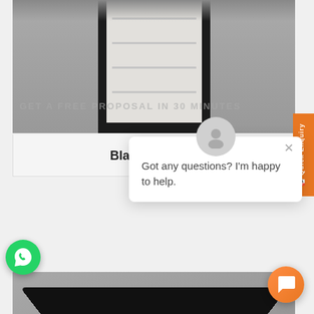[Figure (photo): Top portion of a black pen box product photo, showing lid with white interior lining visible]
GET A FREE PROPOSAL IN 30 MINUTES
Black Pen Box
[Figure (photo): Open black pen box with gray/cream interior lining, photographed from above at slight angle on gray background. Chat popup overlay visible saying 'Got any questions? I'm happy to help.' with avatar and close X button. WhatsApp green button on left. Orange chat button bottom right.]